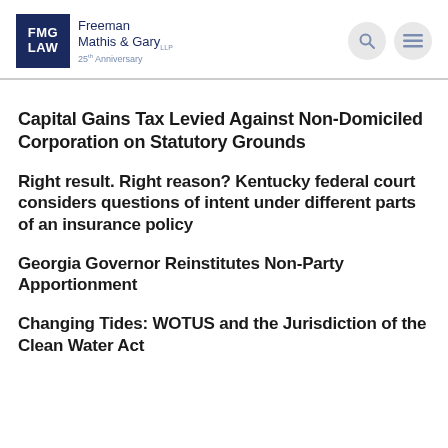FMG LAW | Freeman Mathis & Gary LLP | 25th Anniversary
Capital Gains Tax Levied Against Non-Domiciled Corporation on Statutory Grounds
Right result. Right reason? Kentucky federal court considers questions of intent under different parts of an insurance policy
Georgia Governor Reinstitutes Non-Party Apportionment
Changing Tides: WOTUS and the Jurisdiction of the Clean Water Act